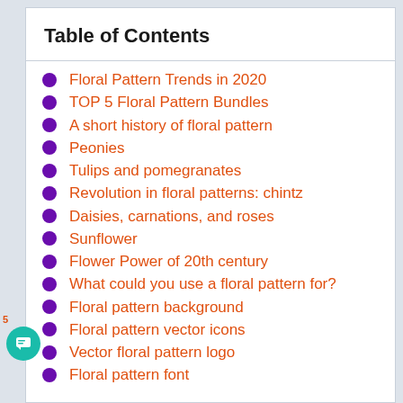Table of Contents
Floral Pattern Trends in 2020
TOP 5 Floral Pattern Bundles
A short history of floral pattern
Peonies
Tulips and pomegranates
Revolution in floral patterns: chintz
Daisies, carnations, and roses
Sunflower
Flower Power of 20th century
What could you use a floral pattern for?
Floral pattern background
Floral pattern vector icons
Vector floral pattern logo
Floral pattern font